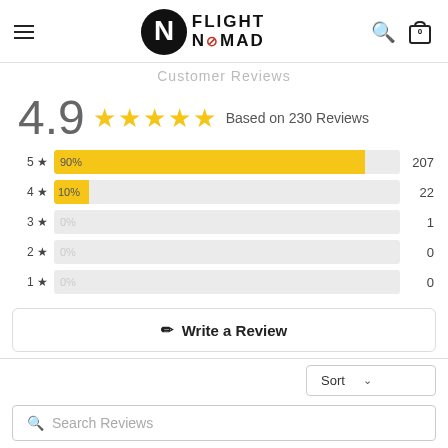Flight Nomad — navigation header
Customer Reviews
4.9 ★★★★★ Based on 230 Reviews
[Figure (bar-chart): Star rating distribution]
✎ Write a Review
Sort
🔍 Search Reviews